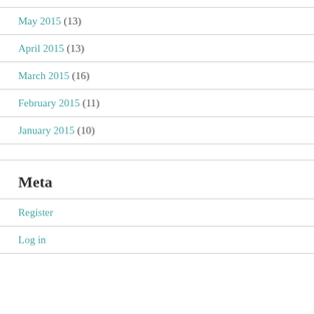May 2015 (13)
April 2015 (13)
March 2015 (16)
February 2015 (11)
January 2015 (10)
Meta
Register
Log in